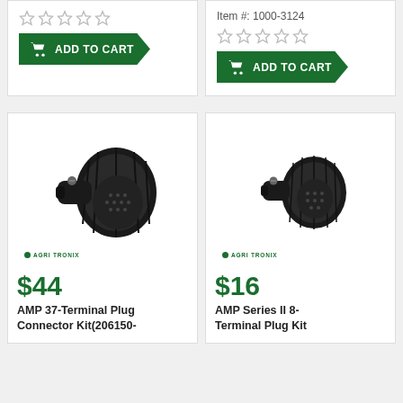[Figure (screenshot): Top-left product card partial view showing star rating (empty stars) and green Add to Cart button]
Item #: 1000-3124
[Figure (screenshot): Top-right product card partial view showing item number, star rating (empty stars) and green Add to Cart button]
[Figure (photo): AMP 37-Terminal Plug Connector product photo on white background with AGRI-TRONIX logo]
$44
AMP 37-Terminal Plug Connector Kit(206150-
[Figure (photo): AMP Series II 8-Terminal Plug Kit product photo on white background with AGRI-TRONIX logo]
$16
AMP Series II 8-Terminal Plug Kit